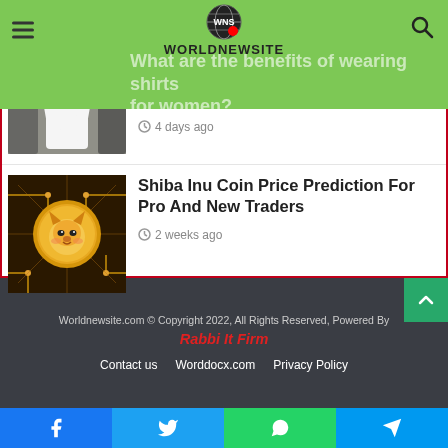WORLDNEWSITE
What are the benefits of wearing shirts for women?
4 days ago
Shiba Inu Coin Price Prediction For Pro And New Traders
2 weeks ago
Worldnewsite.com © Copyright 2022, All Rights Reserved, Powered By Rabbi It Firm
Contact us   Worddocx.com   Privacy Policy